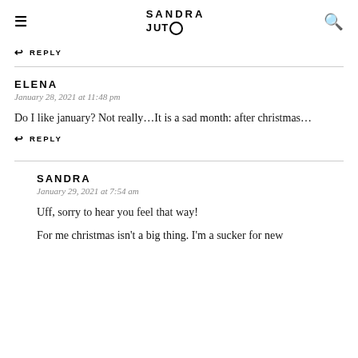SANDRA JUTO
↩ REPLY
ELENA
January 28, 2021 at 11:48 pm
Do I like january? Not really…It is a sad month: after christmas…
↩ REPLY
SANDRA
January 29, 2021 at 7:54 am
Uff, sorry to hear you feel that way!
For me christmas isn't a big thing. I'm a sucker for new